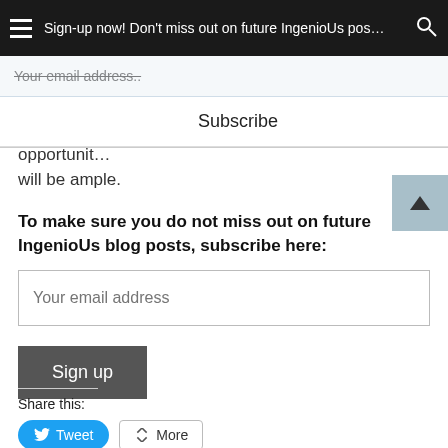Sign up now! Don't miss out on future IngenioUs posts
needs, you will remain relevant and your opportunities will be ample.
To make sure you do not miss out on future IngenioUs blog posts, subscribe here:
Your email address
Sign up
Share this:
Tweet
More